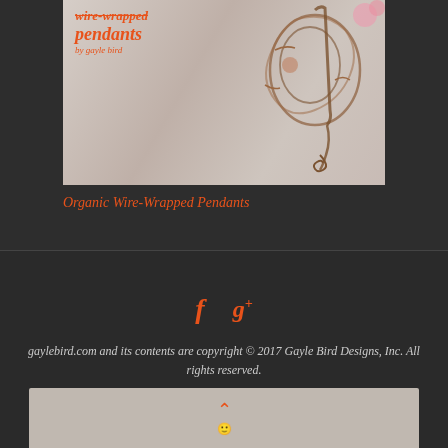[Figure (photo): Book cover for 'Organic Wire-Wrapped Pendants by Gayle Bird' showing wire-wrapped pendant jewelry on a light background]
Organic Wire-Wrapped Pendants
[Figure (illustration): Social media icons: Facebook (f) and Google+ (g+) in orange]
gaylebird.com and its contents are copyright © 2017 Gayle Bird Designs, Inc. All rights reserved.
Powered by Fluida & WordPress.
[Figure (illustration): Scroll-to-top button area with chevron up arrow icon and small icon below on a light gray background]